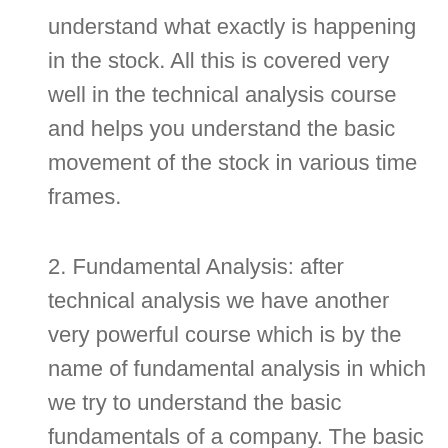understand what exactly is happening in the stock. All this is covered very well in the technical analysis course and helps you understand the basic movement of the stock in various time frames.
2. Fundamental Analysis: after technical analysis we have another very powerful course which is by the name of fundamental analysis in which we try to understand the basic fundamentals of a company. The basic job of fundamental analysis is to read the balance sheet of the